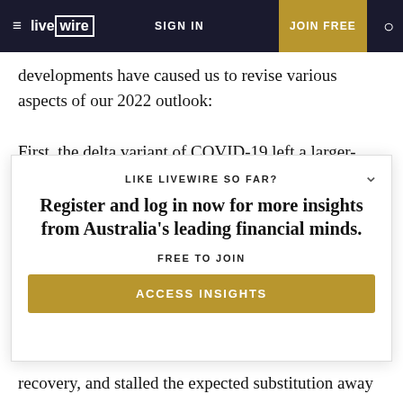≡ livewire   SIGN IN   JOIN FREE   🔍
developments have caused us to revise various aspects of our 2022 outlook:
First, the delta variant of COVID-19 left a larger-than-expected, albeit still likely temporary, mark on both
[Figure (screenshot): Modal overlay with text: LIKE LIVEWIRE SO FAR? Register and log in now for more insights from Australia's leading financial minds. FREE TO JOIN. ACCESS INSIGHTS button.]
recovery, and stalled the expected substitution away